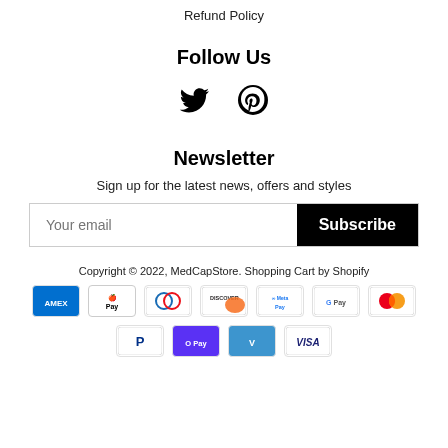Refund Policy
Follow Us
[Figure (other): Twitter and Pinterest social media icons]
Newsletter
Sign up for the latest news, offers and styles
Your email / Subscribe button
Copyright © 2022, MedCapStore. Shopping Cart by Shopify
[Figure (other): Payment method icons: American Express, Apple Pay, Diners Club, Discover, Meta Pay, Google Pay, Mastercard, PayPal, Shop Pay, Venmo, Visa]